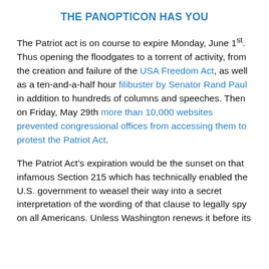THE PANOPTICON HAS YOU
The Patriot act is on course to expire Monday, June 1st. Thus opening the floodgates to a torrent of activity, from the creation and failure of the USA Freedom Act, as well as a ten-and-a-half hour filibuster by Senator Rand Paul in addition to hundreds of columns and speeches. Then on Friday, May 29th more than 10,000 websites prevented congressional offices from accessing them to protest the Patriot Act.
The Patriot Act’s expiration would be the sunset on that infamous Section 215 which has technically enabled the U.S. government to weasel their way into a secret interpretation of the wording of that clause to legally spy on all Americans. Unless Washington renews it before its